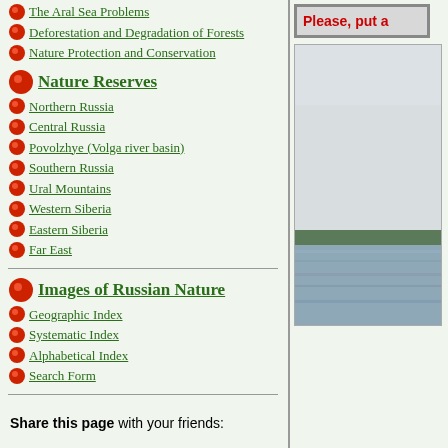The Aral Sea Problems
Deforestation and Degradation of Forests
Nature Protection and Conservation
Nature Reserves
Northern Russia
Central Russia
Povolzhye (Volga river basin)
Southern Russia
Ural Mountains
Western Siberia
Eastern Siberia
Far East
Images of Russian Nature
Geographic Index
Systematic Index
Alphabetical Index
Search Form
Share this page with your friends:
[Figure (other): Please, put a [text cut off] - advertisement/banner box on right side]
[Figure (photo): Landscape photo showing a body of water with a forested shoreline in the distance under a grey sky]